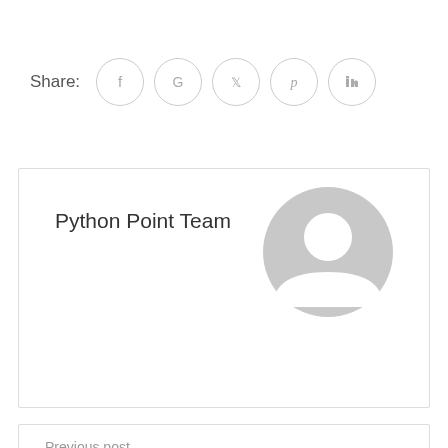Share:
[Figure (infographic): Social share buttons: Facebook, Google, Twitter, Pinterest, LinkedIn — each in a circle outline]
[Figure (illustration): Author card box with name 'Python Point Team' and a grey default user avatar image on the right]
Python Point Team
Previous post